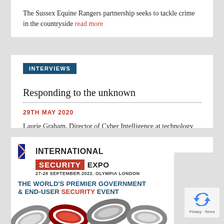The Sussex Equine Rangers partnership seeks to tackle crime in the countryside read more
INTERVIEWS
Responding to the unknown
29TH MAY 2020
Laurie Graham, Director of Cyber Intelligence at technology consultancy 6point6, read more
[Figure (infographic): International Security Expo advertisement banner. Logo with UK flag chevron, text INTERNATIONAL SECURITY EXPO, date 27-28 SEPTEMBER 2022. OLYMPIA LONDON, tagline THE WORLD'S PREMIER GOVERNMENT & END-USER SECURITY EVENT, with metallic chain links image at bottom.]